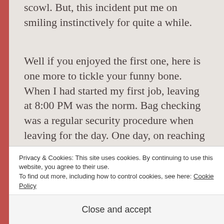scowl. But, this incident put me on smiling instinctively for quite a while.
Well if you enjoyed the first one, here is one more to tickle your funny bone. When I had started my first job, leaving at 8:00 PM was the norm. Bag checking was a regular security procedure when leaving for the day. One day, on reaching this
Privacy & Cookies: This site uses cookies. By continuing to use this website, you agree to their use.
To find out more, including how to control cookies, see here: Cookie Policy
Close and accept
my eye and saw one of the training faculty